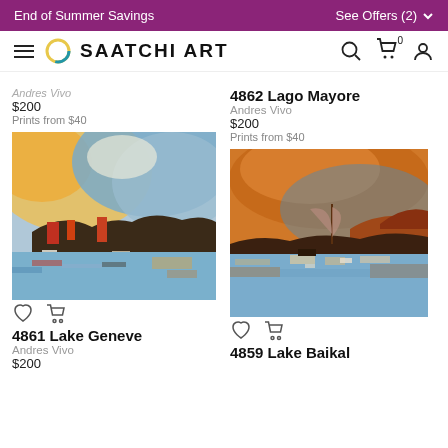End of Summer Savings   See Offers (2)
SAATCHI ART
Andres Vivo
$200
Prints from $40
4862 Lago Mayore
Andres Vivo
$200
Prints from $40
[Figure (photo): Abstract landscape painting with vibrant blues, oranges, yellows and reds depicting a waterfront scene - Lake Geneve by Andres Vivo]
4861 Lake Geneve
Andres Vivo
$200
[Figure (photo): Abstract landscape painting with orange, blue and brown tones depicting a waterfront scene with a figure - Lake Baikal by Andres Vivo]
4859 Lake Baikal